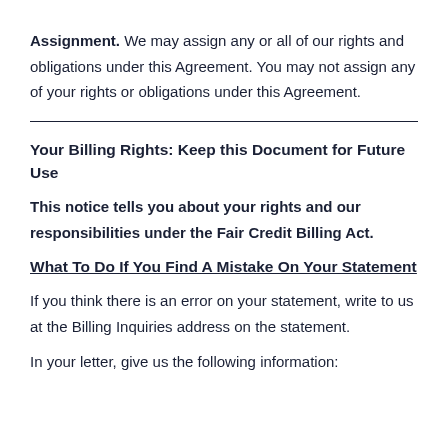Assignment. We may assign any or all of our rights and obligations under this Agreement. You may not assign any of your rights or obligations under this Agreement.
Your Billing Rights: Keep this Document for Future Use
This notice tells you about your rights and our responsibilities under the Fair Credit Billing Act.
What To Do If You Find A Mistake On Your Statement
If you think there is an error on your statement, write to us at the Billing Inquiries address on the statement.
In your letter, give us the following information: